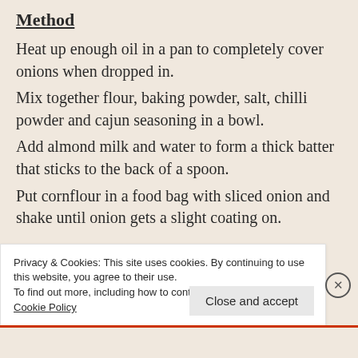Method
Heat up enough oil in a pan to completely cover onions when dropped in.
Mix together flour, baking powder, salt, chilli powder and cajun seasoning in a bowl.
Add almond milk and water to form a thick batter that sticks to the back of a spoon.
Put cornflour in a food bag with sliced onion and shake until onion gets a slight coating on.
Privacy & Cookies: This site uses cookies. By continuing to use this website, you agree to their use.
To find out more, including how to control cookies, see here: Cookie Policy